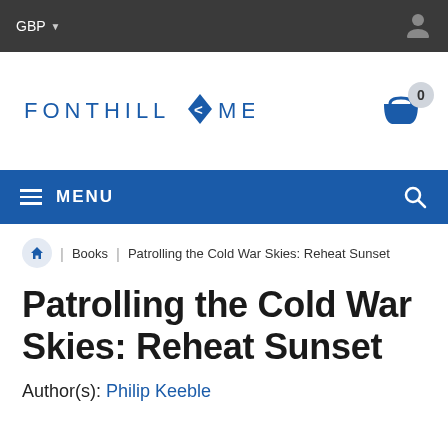GBP
[Figure (logo): Fonthill Media logo with stylized F diamond icon]
Breadcrumb: Home / Books / Patrolling the Cold War Skies: Reheat Sunset
Patrolling the Cold War Skies: Reheat Sunset
Author(s): Philip Keeble